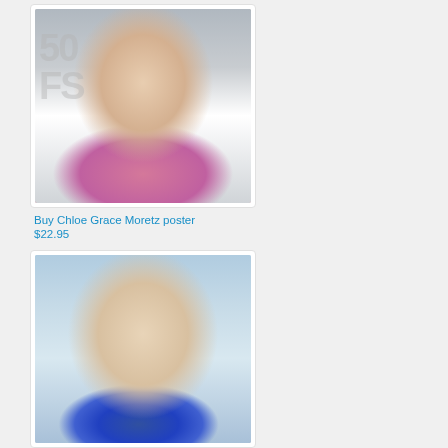[Figure (photo): Photo of Chloe Grace Moretz wearing a pink strapless dress at an event, with long wavy blonde hair. Event backdrop visible in background.]
Buy Chloe Grace Moretz poster
$22.95
[Figure (photo): Photo of Chloe Grace Moretz wearing a blue patterned sleeveless top and black headband, looking to the side with a smile.]